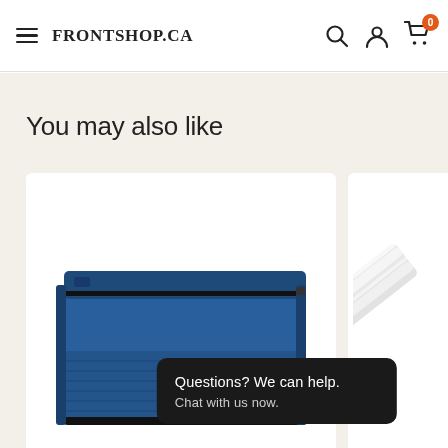FRONTSHOP.CA
You may also like
[Figure (photo): Blue fabric zipper pouch/document bag product photo on white background]
[Figure (photo): White plastic ruler product photo on white background, partially visible]
Questions? We can help. Chat with us now.
FRONTSHOP.CA